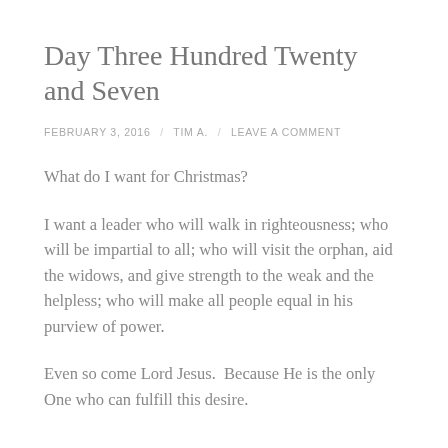Day Three Hundred Twenty and Seven
FEBRUARY 3, 2016 / TIM A. / LEAVE A COMMENT
What do I want for Christmas?
I want a leader who will walk in righteousness; who will be impartial to all; who will visit the orphan, aid the widows, and give strength to the weak and the helpless; who will make all people equal in his purview of power.
Even so come Lord Jesus.  Because He is the only One who can fulfill this desire.